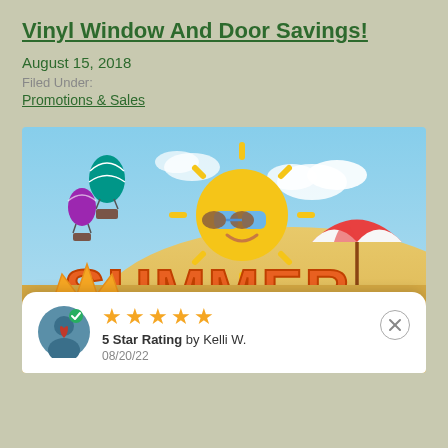Vinyl Window And Door Savings!
August 15, 2018
Filed Under:
Promotions & Sales
[Figure (illustration): Summer promotional banner for vinyl window and door savings, featuring cartoon sun with sunglasses, hot air balloons, beach umbrella, sandy dunes, with text 'SUMMER' in large orange letters and banner reading 'VINYL WINDOW AND DOOR SAVINGS', and partial text 'UPGRADE NOW TO 366 GLASS AT NO' and '2 YOU BACK']
5 Star Rating by Kelli W. 08/20/22